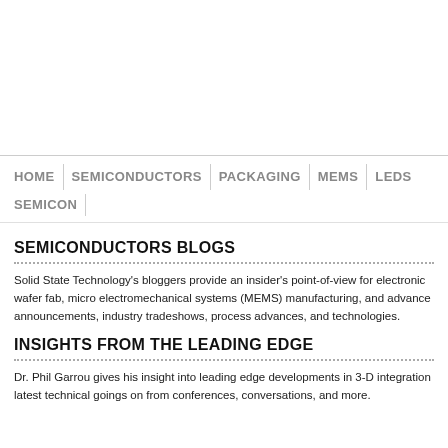HOME | SEMICONDUCTORS | PACKAGING | MEMS | LEDS
SEMICON
SEMICONDUCTORS BLOGS
Solid State Technology's bloggers provide an insider's point-of-view for electronic wafer fab, micro electromechanical systems (MEMS) manufacturing, and advance announcements, industry tradeshows, process advances, and technologies.
INSIGHTS FROM THE LEADING EDGE
Dr. Phil Garrou gives his insight into leading edge developments in 3-D integration latest technical goings on from conferences, conversations, and more.